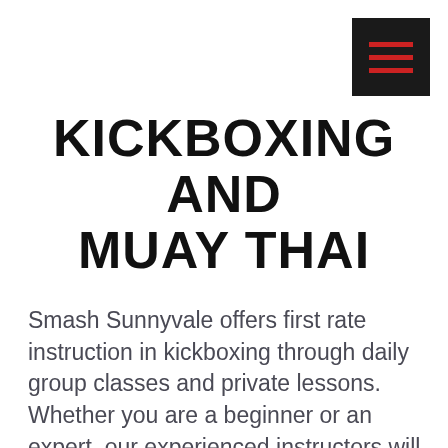[Figure (other): Hamburger menu icon button — black square with three red horizontal bars]
KICKBOXING AND MUAY THAI
Smash Sunnyvale offers first rate instruction in kickboxing through daily group classes and private lessons. Whether you are a beginner or an expert, our experienced instructors will make sure you get a great workout in addition to improving your technique. You will be challenged by structured yet fun kickboxing and strength and conditioning routines in a safe and encouraging environment. We welcome all fitness and skill levels. Our kickboxing program will help you